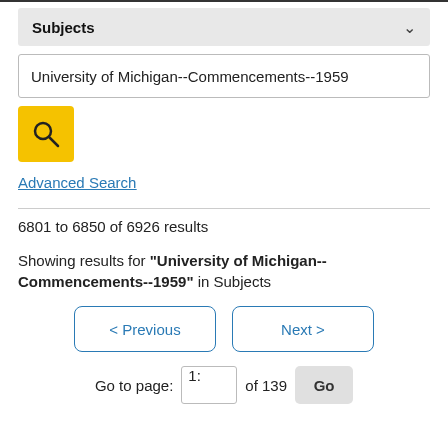Subjects
University of Michigan--Commencements--1959
Advanced Search
6801 to 6850 of 6926 results
Showing results for "University of Michigan--Commencements--1959" in Subjects
< Previous
Next >
Go to page: 1: of 139 Go